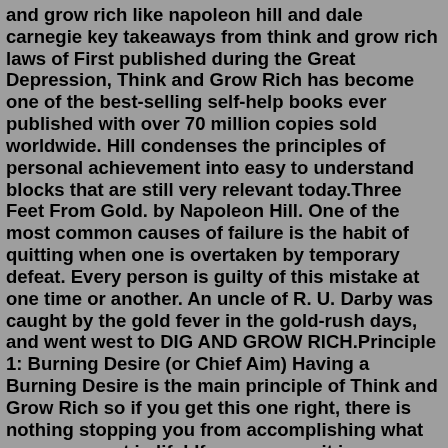and grow rich like napoleon hill and dale carnegie key takeaways from think and grow rich laws of First published during the Great Depression, Think and Grow Rich has become one of the best-selling self-help books ever published with over 70 million copies sold worldwide. Hill condenses the principles of personal achievement into easy to understand blocks that are still very relevant today.Three Feet From Gold. by Napoleon Hill. One of the most common causes of failure is the habit of quitting when one is overtaken by temporary defeat. Every person is guilty of this mistake at one time or another. An uncle of R. U. Darby was caught by the gold fever in the gold-rush days, and went west to DIG AND GROW RICH.Principle 1: Burning Desire (or Chief Aim) Having a Burning Desire is the main principle of Think and Grow Rich so if you get this one right, there is nothing stopping you from accomplishing what ever you want in life! If you can see it in your mind, you can hold it in your hand….View Details.